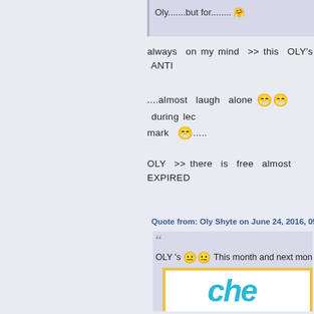Oly.......but for........  🤗
always  on my mind  >> this  OLY's  ANTI
....almost  laugh  alone 😁😁  during lec mark  😁.....
OLY  >> there  is  free  almost EXPIRED
Quote from: Oly Shyte on June 24, 2016, 05:48:
OLY 's 😐😐  This month and next month  fo
[Figure (logo): Partial logo showing 'che' text in cyan/turquoise italic bold font on white background with yellow border]